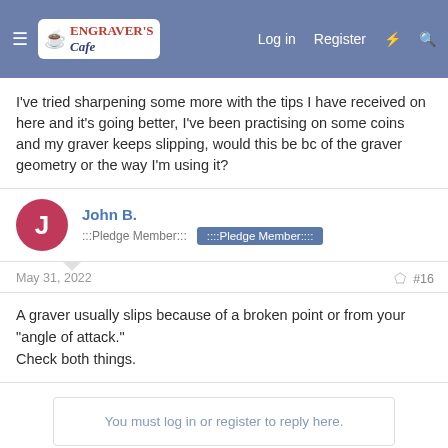Engraver's Cafe — Log in | Register
I've tried sharpening some more with the tips I have received on here and it's going better, I've been practising on some coins and my graver keeps slipping, would this be bc of the graver geometry or the way I'm using it?
John B. :::Pledge Member::: ::::Pledge Member::::
May 31, 2022 #16
A graver usually slips because of a broken point or from your "angle of attack."
Check both things.
You must log in or register to reply here.